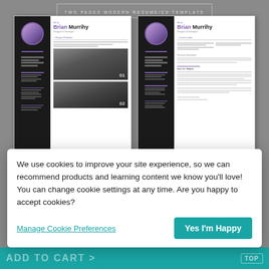TWO PAGES MODERN RESUME/CV TEMPLATE
[Figure (screenshot): Preview of a two-page modern resume/CV template for Brian Murrihy, Designer & Developer. Left page shows black sidebar with profile photo, purple accents, and portfolio project photos. Right page shows a cover letter format with matching sidebar.]
We use cookies to improve your site experience, so we can recommend products and learning content we know you'll love! You can change cookie settings at any time. Are you happy to accept cookies?
Manage Cookie Preferences
Yes I'm Happy
Add To Cart > TOP